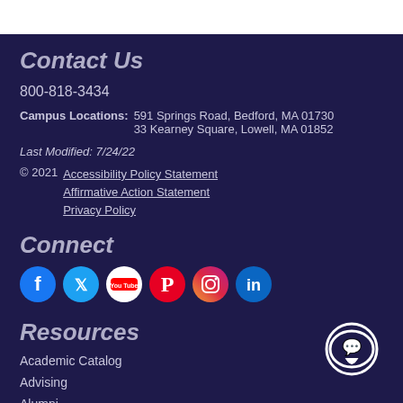Contact Us
800-818-3434
Campus Locations:  591 Springs Road, Bedford, MA 01730
33 Kearney Square, Lowell, MA 01852
Last Modified: 7/24/22
© 2021  Accessibility Policy Statement
Affirmative Action Statement
Privacy Policy
Connect
[Figure (illustration): Social media icons: Facebook, Twitter, YouTube, Pinterest, Instagram, LinkedIn]
Resources
Academic Catalog
Advising
Alumni
[Figure (illustration): Chat bubble icon in white]